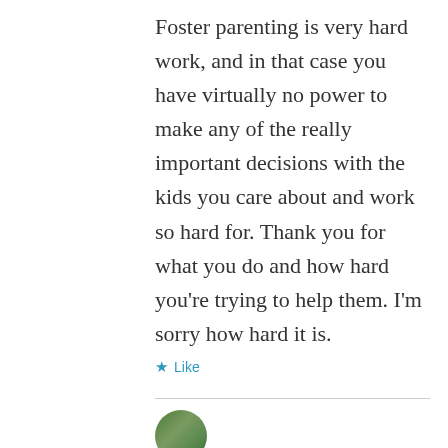Foster parenting is very hard work, and in that case you have virtually no power to make any of the really important decisions with the kids you care about and work so hard for. Thank you for what you do and how hard you're trying to help them. I'm sorry how hard it is.
★ Like
[Figure (photo): Circular avatar/profile photo of a person, partially visible at the bottom of the page]